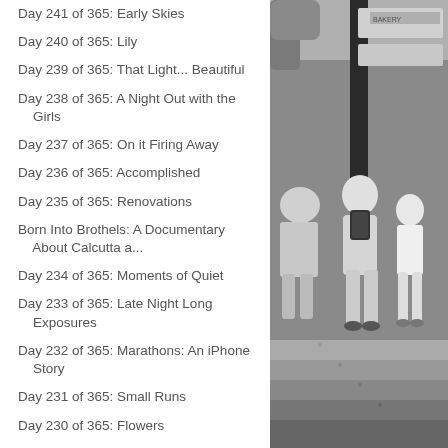Day 241 of 365: Early Skies
Day 240 of 365: Lily
Day 239 of 365: That Light... Beautiful
Day 238 of 365: A Night Out with the Girls
Day 237 of 365: On it Firing Away
Day 236 of 365: Accomplished
Day 235 of 365: Renovations
Born Into Brothels: A Documentary About Calcutta a...
Day 234 of 365: Moments of Quiet
Day 233 of 365: Late Night Long Exposures
Day 232 of 365: Marathons: An iPhone Story
Day 231 of 365: Small Runs
Day 230 of 365: Flowers
Progress Report Idea
Day 229 of 365: Morning Hour
Vlog #49: High Street Low Street: A Book of Seoul
Day 228 of 365: High Street Low Street: A Document...
Day 227 of 365: On My Spare Time
[Figure (photo): Black and white photo of people walking on a sidewalk near a street sign and a bakery storefront. People are seen from behind, one wearing a backpack.]